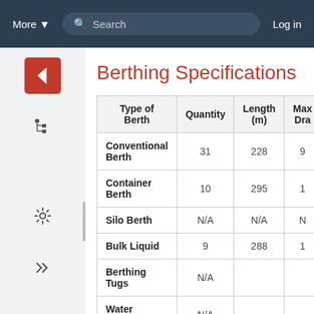More ▾   Search   Log in
Berthing Specifications
| Type of Berth | Quantity | Length (m) | Max Dra… |
| --- | --- | --- | --- |
| Conventional Berth | 31 | 228 | 9… |
| Container Berth | 10 | 295 | 1… |
| Silo Berth | N/A | N/A | N… |
| Bulk Liquid | 9 | 288 | 1… |
| Berthing Tugs | N/A |  |  |
| Water Barges | N/A |  |  |